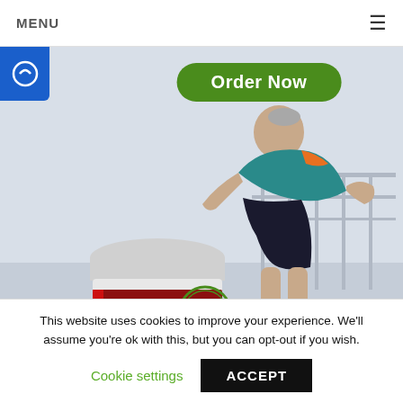MENU ≡
[Figure (photo): Advertisement showing a Vitapost Blood Pressure Support supplement bottle overlaid on a photo of an older man running/exercising outdoors. A green 'Order Now' button appears at the top of the image. A blue circular icon is in the top-left corner.]
This website uses cookies to improve your experience. We'll assume you're ok with this, but you can opt-out if you wish.
Cookie settings  ACCEPT